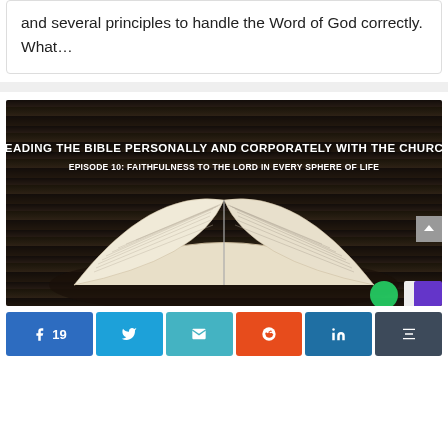and several principles to handle the Word of God correctly. What...
[Figure (photo): Open Bible on a dark wooden surface with overlaid text: 'READING THE BIBLE PERSONALLY AND CORPORATELY WITH THE CHURCH' and 'EPISODE 10: FAITHFULNESS TO THE LORD IN EVERY SPHERE OF LIFE']
Social share buttons: Facebook (19), Twitter, Email, Reddit, LinkedIn, Buffer